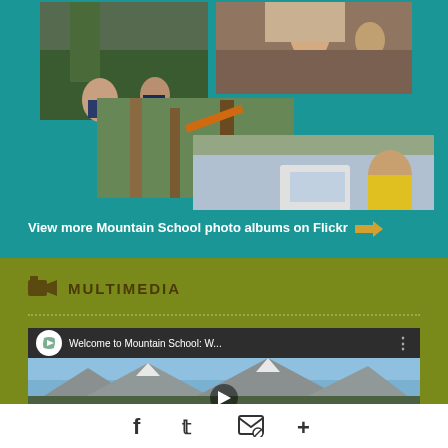[Figure (photo): Collage of Mountain School photos: children in forest, girls indoors, outdoor activities]
View more Mountain School photo albums on Flickr →
MULTIMEDIA
[Figure (screenshot): YouTube video thumbnail: Welcome to Mountain School: W... with mountain landscape background and play button]
[Figure (other): Social media icons bar: Facebook, Twitter, Email/Share, Plus]